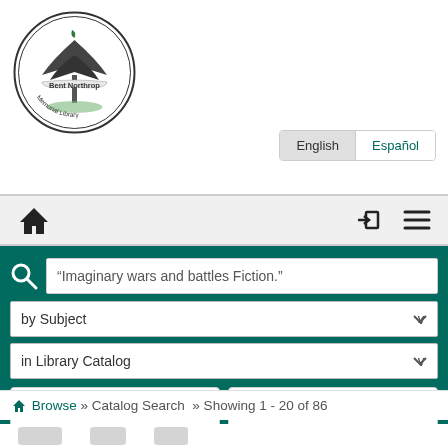[Figure (logo): Bent Northrop Memorial Library circular logo featuring a tree inside a circle with the library name around the border]
English   Español
[Figure (screenshot): Navigation bar with home icon on left and login/menu icons on right]
"Imaginary wars and battles Fiction."
by Subject
in Library Catalog
Search   Filters
Browse » Catalog Search » Showing 1 - 20 of 86